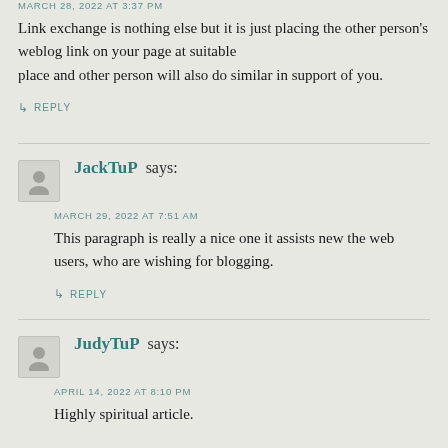MARCH 28, 2022 AT 3:37 PM
Link exchange is nothing else but it is just placing the other person's weblog link on your page at suitable place and other person will also do similar in support of you.
↳ REPLY
JackTuP says:
MARCH 29, 2022 AT 7:51 AM
This paragraph is really a nice one it assists new the web users, who are wishing for blogging.
↳ REPLY
JudyTuP says:
APRIL 14, 2022 AT 8:10 PM
Highly spiritual article.